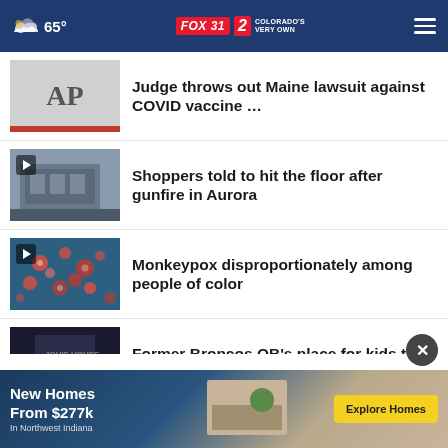65° FOX31 2 COLORADO'S VERY OWN
Judge throws out Maine lawsuit against COVID vaccine …
Shoppers told to hit the floor after gunfire in Aurora
Monkeypox disproportionately among people of color
Former Broncos QB's place for kids to deal with loss
More Stories ›
[Figure (screenshot): Advertisement banner: New Homes From $277k In Northwest Indiana – Explore Homes]